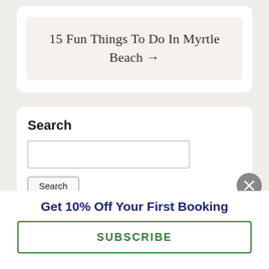15 Fun Things To Do In Myrtle Beach →
Search
Search
Get 10% Off Your First Booking
SUBSCRIBE